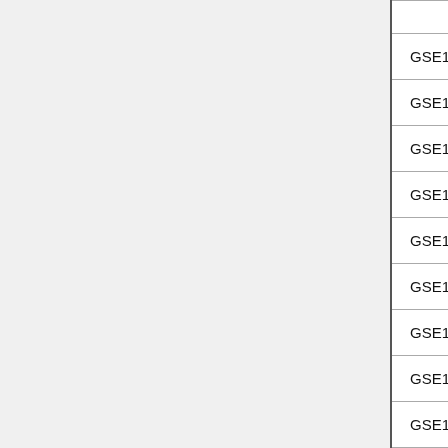| GSE17721_LPS_VS_PAM3CSK4_8H_BMDM_D... |
| GSE17721_LPS_VS_PAM3CSK4_8H_BMDM_U... |
| GSE17721_LPS_VS_POLYIC_0.5H_BMDM_DN... |
| GSE17721_LPS_VS_POLYIC_0.5H_BMDM_UP... |
| GSE17721_LPS_VS_POLYIC_12H_BMDM_DN... |
| GSE17721_LPS_VS_POLYIC_12H_BMDM_UP... |
| GSE17721_LPS_VS_POLYIC_16H_BMDM_DN... |
| GSE17721_LPS_VS_POLYIC_16H_BMDM_UP... |
| GSE17721_LPS_VS_POLYIC_1H_BMDM_DN... |